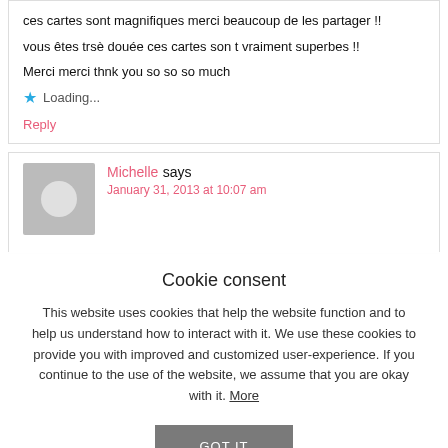ces cartes sont magnifiques merci beaucoup de les partager !!
vous êtes trsè douée ces cartes son t vraiment superbes !!
Merci merci thnk you so so so much
★ Loading...
Reply
Michelle says
January 31, 2013 at 10:07 am
Cookie consent
This website uses cookies that help the website function and to help us understand how to interact with it. We use these cookies to provide you with improved and customized user-experience. If you continue to the use of the website, we assume that you are okay with it. More
GOT IT